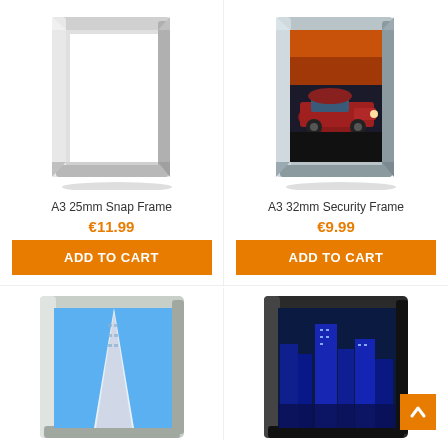[Figure (photo): Silver snap frame A3 25mm, empty white interior, shown at slight angle]
A3 25mm Snap Frame
€11.99
ADD TO CART
[Figure (photo): Silver/grey security frame A3 32mm containing photo of red classic car on dark background]
A3 32mm Security Frame
€9.99
ADD TO CART
[Figure (photo): White/silver frame containing blue sky and modern glass skyscraper building]
[Figure (photo): Black frame containing blue-toned cityscape with skyscrapers at night]